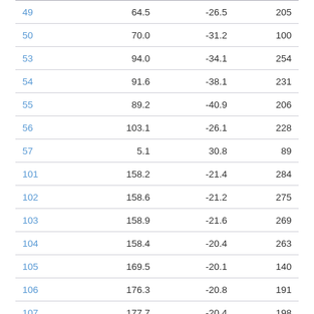| 49 | 64.5 | -26.5 | 205 |
| 50 | 70.0 | -31.2 | 100 |
| 53 | 94.0 | -34.1 | 254 |
| 54 | 91.6 | -38.1 | 231 |
| 55 | 89.2 | -40.9 | 206 |
| 56 | 103.1 | -26.1 | 228 |
| 57 | 5.1 | 30.8 | 89 |
| 101 | 158.2 | -21.4 | 284 |
| 102 | 158.6 | -21.2 | 275 |
| 103 | 158.9 | -21.6 | 269 |
| 104 | 158.4 | -20.4 | 263 |
| 105 | 169.5 | -20.1 | 140 |
| 106 | 176.3 | -20.8 | 191 |
| 107 | 177.7 | -20.4 | 198 |